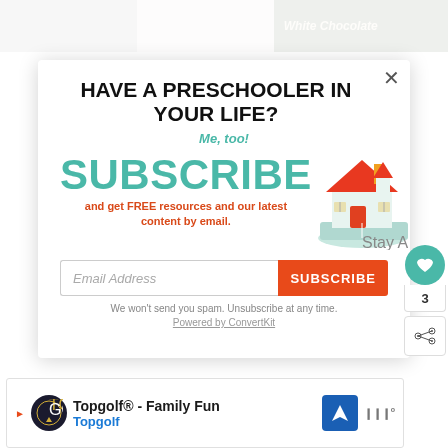[Figure (screenshot): Website background with images partially visible behind modal]
HAVE A PRESCHOOLER IN YOUR LIFE?
Me, too!
SUBSCRIBE and get FREE resources and our latest content by email.
[Figure (illustration): Stay At Home Educator house logo illustration with open book]
Email Address
SUBSCRIBE
We won't send you spam. Unsubscribe at any time.
Powered by ConvertKit
[Figure (screenshot): Topgolf advertisement banner at bottom: Topgolf® - Family Fun]
3